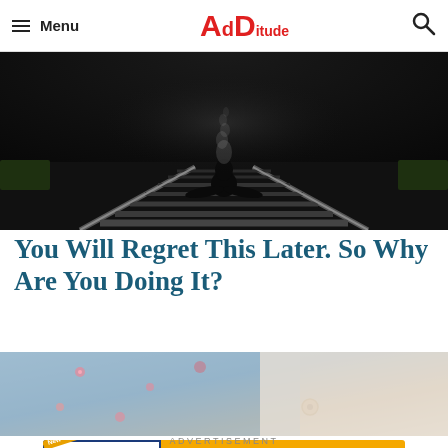Menu | ADDitude
[Figure (photo): Dark dramatic photo of a silhouette sitting on train tracks with smoke rising, viewed from behind]
You Will Regret This Later. So Why Are You Doing It?
[Figure (photo): Close-up photo of person wearing floral denim jacket/overalls]
[Figure (infographic): ADDitude advertisement banner: New eBook - The Diet & Nutrition Guide for Adults with ADHD. What to Eat. What to Avoid. Learn More.]
ADVERTISEMENT